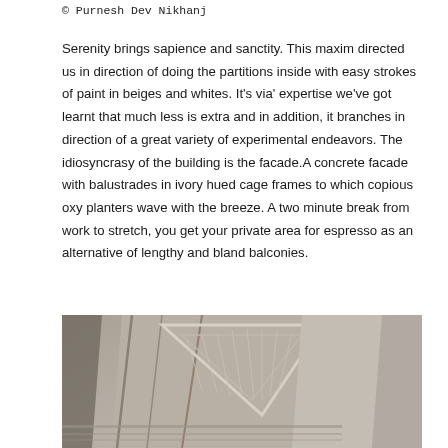© Purnesh Dev Nikhanj
Serenity brings sapience and sanctity. This maxim directed us in direction of doing the partitions inside with easy strokes of paint in beiges and whites. It's via' expertise we've got learnt that much less is extra and in addition, it branches in direction of a great variety of experimental endeavors. The idiosyncrasy of the building is the facade.A concrete facade with balustrades in ivory hued cage frames to which copious oxy planters wave with the breeze. A two minute break from work to stretch, you get your private area for espresso as an alternative of lengthy and bland balconies.
[Figure (photo): Close-up architectural photograph of a modern building facade featuring concrete panels, diagonal geometric lines and triangular patterns, with a pale blue-grey sky background.]